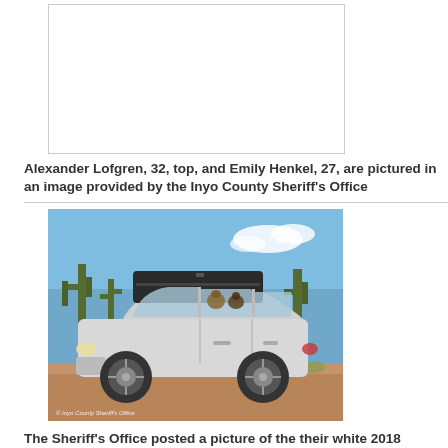[Figure (photo): Photo placeholder showing Alexander Lofgren and Emily Henkel (top portion, partially visible)]
Alexander Lofgren, 32, top, and Emily Henkel, 27, are pictured in an image provided by the Inyo County Sheriff's Office
[Figure (photo): White 2018 Subaru Forester with a black roof rack/cargo box and several dogs inside, parked in desert near Tucson. Watermark reads '© Inyo County Sheriff's Office']
The Sheriff's Office posted a picture of the their white 2018 Subaru Forester with a black roof rack and several dogs near what is believed to be Tucson at some point before the ill-fated trip
That proved to be 'a crucial tip in directing search efforts,' the